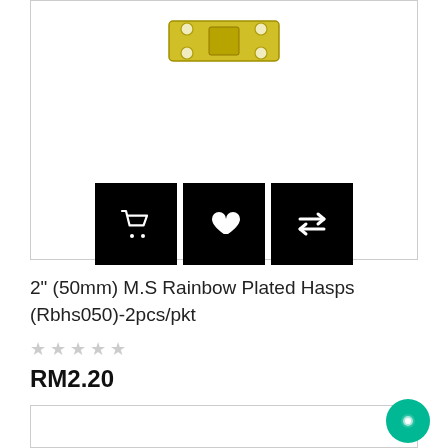[Figure (photo): Product listing card showing a golden/brass hasp hardware piece (M.S Rainbow Plated Hasp) with three black action buttons: shopping cart, heart/wishlist, and compare arrows]
2" (50mm) M.S Rainbow Plated Hasps (Rbhs050)-2pcs/pkt
★ ★ ★ ★ ★ (empty star rating)
RM2.20